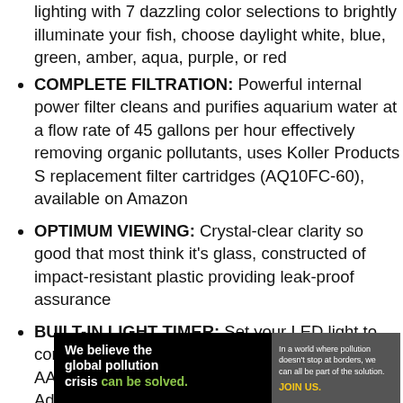lighting with 7 dazzling color selections to brightly illuminate your fish, choose daylight white, blue, green, amber, aqua, purple, or red
COMPLETE FILTRATION: Powerful internal power filter cleans and purifies aquarium water at a flow rate of 45 gallons per hour effectively removing organic pollutants, uses Koller Products S replacement filter cartridges (AQ10FC-60), available on Amazon
OPTIMUM VIEWING: Crystal-clear clarity so good that most think it's glass, constructed of impact-resistant plastic providing leak-proof assurance
BUILT-IN LIGHT TIMER: Set your LED light to come on at the same time every day; light uses 3 AAA batteries (sold separately) or 5V Power Adapter (AQ51000) available on Amazon
[Figure (infographic): Pure Earth advertisement banner: black background with white bold text reading 'We believe the global pollution crisis can be solved.' (can be solved in green), beside gray panel with small text 'In a world where pollution doesn't stop at borders, we can all be part of the solution. JOIN US.' in yellow, and white panel on right with diamond-shaped orange/yellow logo and bold text PURE EARTH.]